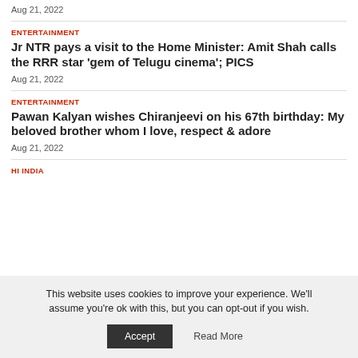Aug 21, 2022
ENTERTAINMENT
Jr NTR pays a visit to the Home Minister: Amit Shah calls the RRR star ‘gem of Telugu cinema’; PICS
Aug 21, 2022
ENTERTAINMENT
Pawan Kalyan wishes Chiranjeevi on his 67th birthday: My beloved brother whom I love, respect & adore
Aug 21, 2022
HI INDIA
This website uses cookies to improve your experience. We'll assume you're ok with this, but you can opt-out if you wish.